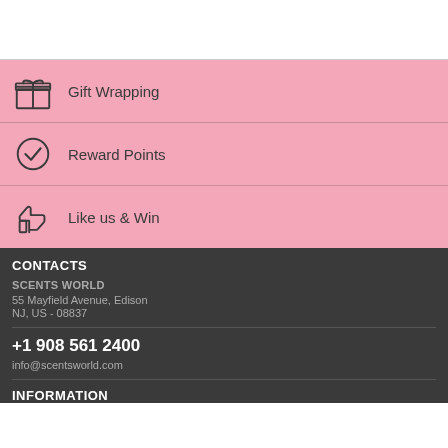Gift Wrapping
Reward Points
Like us & Win
CONTACTS
SCENTS WORLD
55 Mayfield Avenue, Edison
NJ, US - 08837
+1 908 561 2400
info@scentsworld.com
INFORMATION